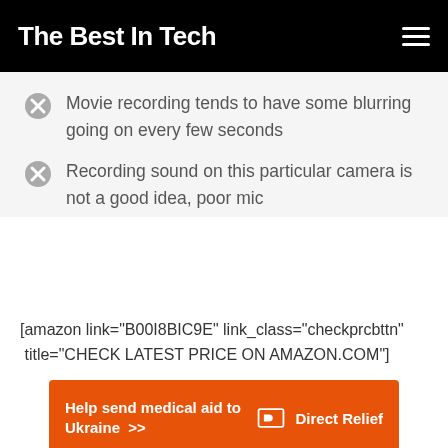The Best In Tech
Movie recording tends to have some blurring going on every few seconds
Recording sound on this particular camera is not a good idea, poor mic
[amazon link="B00I8BIC9E" link_class="checkprcbttn" title="CHECK LATEST PRICE ON AMAZON.COM"]
[Figure (infographic): Orange advertisement banner for Direct Relief: 'Help send medical aid to Ukraine >>' with Direct Relief logo on right]